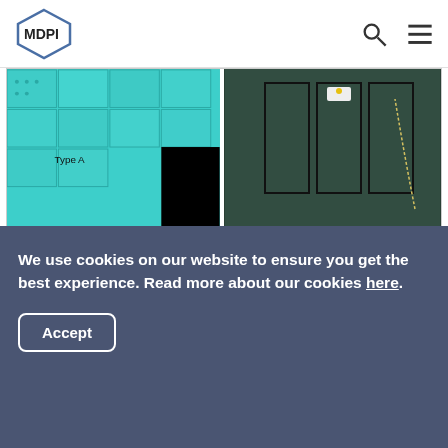MDPI
[Figure (photo): Two subfigures: (c) optical image of the artificial reef field showing teal-colored reef blocks with a black occlusion area, and (d) trajectory of the AUV 'Cyclops' over dark water with rectangular survey paths visible.]
(c) Optical image of the field.      (d) Trajectory of the AUV 'Cyclops'.
Figure 13. Field experiment for the artificial reef classification.
Table 1. Specifications of the AUV 'Cyclops'.
[Figure (table-as-image): Partial view of Table 1 showing a green header row with column dividers, partially cut off.]
We use cookies on our website to ensure you get the best experience. Read more about our cookies here.
Accept